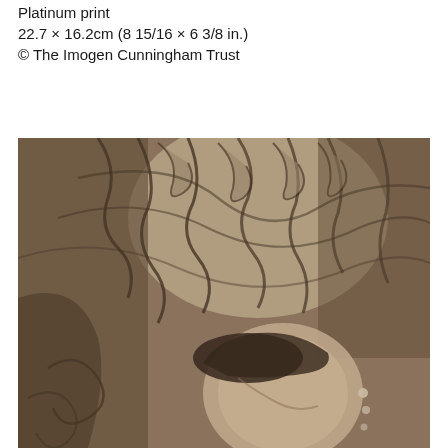Platinum print
22.7 × 16.2cm (8 15/16 × 6 3/8 in.)
© The Imogen Cunningham Trust
[Figure (photo): Sepia-toned platinum print photograph showing a person's face/head from a low angle, with ornate decorative carved or sculptural background featuring swirling acanthus leaf motifs. The image has warm brownish-gray tones characteristic of a platinum print.]